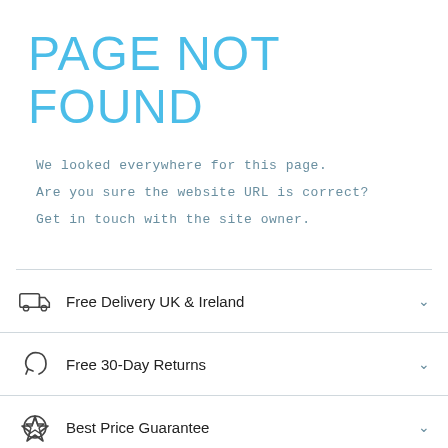PAGE NOT FOUND
We looked everywhere for this page.
Are you sure the website URL is correct?
Get in touch with the site owner.
Free Delivery UK & Ireland
Free 30-Day Returns
Best Price Guarantee
Trade Sales